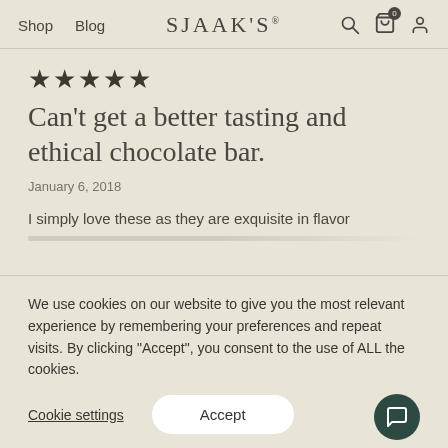Shop  Blog  SJAAK'S
★★★★★
Can't get a better tasting and ethical chocolate bar.
January 6, 2018
I simply love these as they are exquisite in flavor
We use cookies on our website to give you the most relevant experience by remembering your preferences and repeat visits. By clicking "Accept", you consent to the use of ALL the cookies.
Cookie settings
Accept